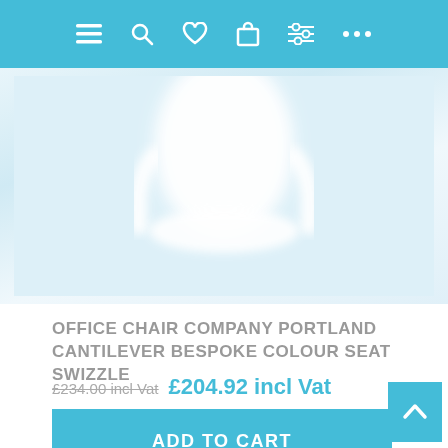Navigation bar with menu, search, wishlist, cart, filters, and more icons
[Figure (photo): Product image of a white cantilever office chair on a light blue-white gradient background]
OFFICE CHAIR COMPANY PORTLAND CANTILEVER BESPOKE COLOUR SEAT SWIZZLE
£234.00 incl Vat  £204.92 incl Vat
ADD TO CART